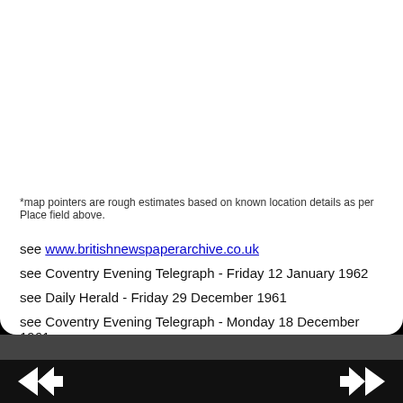*map pointers are rough estimates based on known location details as per Place field above.
see www.britishnewspaperarchive.co.uk
see Coventry Evening Telegraph - Friday 12 January 1962
see Daily Herald - Friday 29 December 1961
see Coventry Evening Telegraph - Monday 18 December 1961